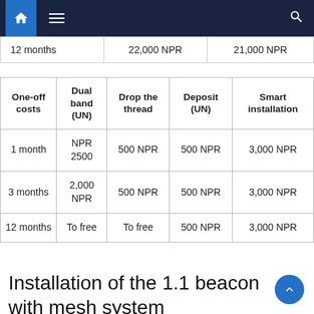Navigation bar with home, menu, and search icons
| 12 months | 22,000 NPR | 21,000 NPR |
| One-off costs | Dual band (UN) | Drop the thread | Deposit (UN) | Smart installation |
| --- | --- | --- | --- | --- |
| 1 month | NPR 2500 | 500 NPR | 500 NPR | 3,000 NPR |
| 3 months | 2,000 NPR | 500 NPR | 500 NPR | 3,000 NPR |
| 12 months | To free | To free | 500 NPR | 3,000 NPR |
Installation of the 1.1 beacon with mesh system